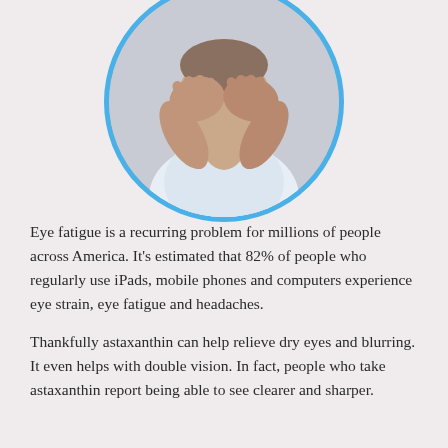[Figure (photo): Circular photo of an elderly person with hands covering their face, wearing a white shirt, suggesting eye strain or headache distress. Photo is framed in a blue circular border.]
Eye fatigue is a recurring problem for millions of people across America. It's estimated that 82% of people who regularly use iPads, mobile phones and computers experience eye strain, eye fatigue and headaches.
Thankfully astaxanthin can help relieve dry eyes and blurring. It even helps with double vision. In fact, people who take astaxanthin report being able to see clearer and sharper.